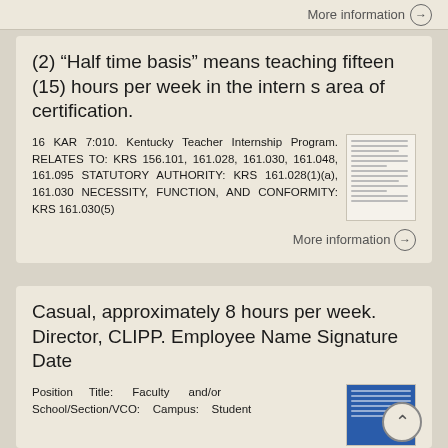More information →
(2) "Half time basis" means teaching fifteen (15) hours per week in the intern s area of certification.
16 KAR 7:010. Kentucky Teacher Internship Program. RELATES TO: KRS 156.101, 161.028, 161.030, 161.048, 161.095 STATUTORY AUTHORITY: KRS 161.028(1)(a), 161.030 NECESSITY, FUNCTION, AND CONFORMITY: KRS 161.030(5)
More information →
Casual, approximately 8 hours per week. Director, CLIPP. Employee Name Signature Date
Position Title: Faculty and/or School/Section/VCO: Campus: Student